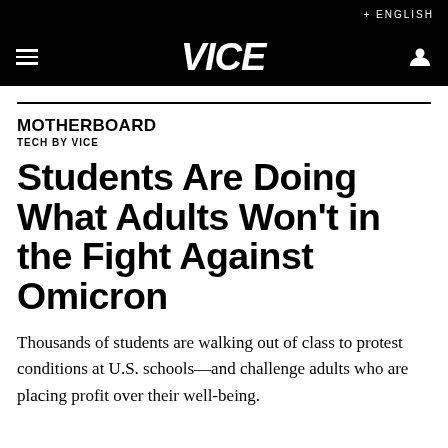+ ENGLISH
VICE
MOTHERBOARD
TECH BY VICE
Students Are Doing What Adults Won't in the Fight Against Omicron
Thousands of students are walking out of class to protest conditions at U.S. schools—and challenge adults who are placing profit over their well-being.